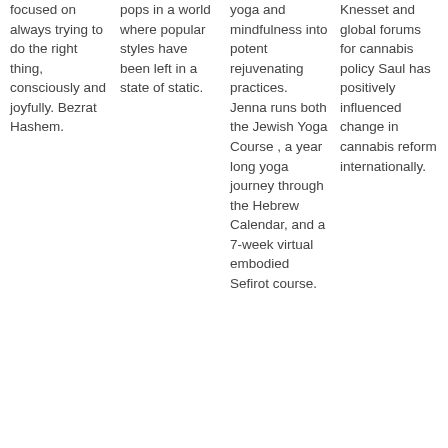focused on always trying to do the right thing, consciously and joyfully. Bezrat Hashem.
pops in a world where popular styles have been left in a state of static.
yoga and mindfulness into potent rejuvenating practices. Jenna runs both the Jewish Yoga Course , a year long yoga journey through the Hebrew Calendar, and a 7-week virtual embodied Sefirot course.
Knesset and global forums for cannabis policy Saul has positively influenced change in cannabis reform internationally.